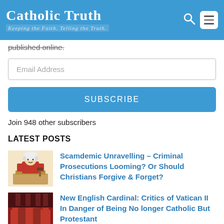Catholic Truth – Keeping the Faith. Telling the Truth.
published online.
Email Address
SUBSCRIBE
Join 948 other subscribers
LATEST POSTS
Scamdemic Unravelling – Criminal Prosecutions Looming? Or Should Christians Forgive & Forget?
[Figure (illustration): Cartoon illustration of a judge in red robes at a bench]
New English Cardinal: Critics of Vatican II In Danger of Being No longer Catholic But Protestant
[Figure (photo): Photo of red-robed figures in a formal setting]
[Figure (photo): Small thumbnail image at bottom, partially visible]